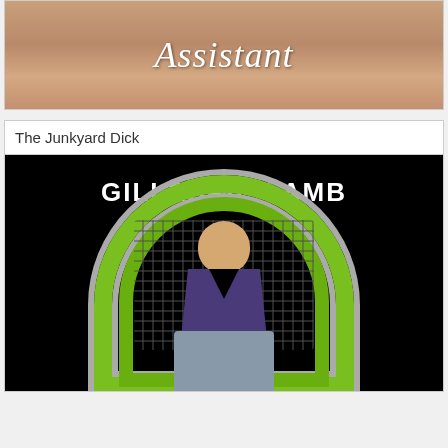[Figure (photo): Book cover image showing cursive text 'Assistant' on a background]
The Junkyard Dick
[Figure (photo): Book cover for 'Gillespie Lamb' showing a bald man with beard wearing purple V-neck shirt and overalls, standing in front of a green chrome arch grill on black background]